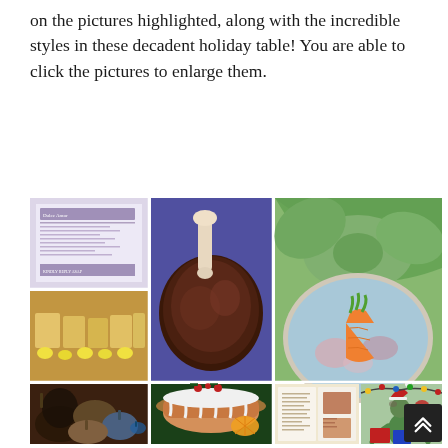on the pictures highlighted, along with the incredible styles in these decadent holiday table! You are able to click the pictures to enlarge them.
[Figure (photo): A collage of 7 holiday food and table setting photos: a menu/program document, a cake display with lemons, decorative pumpkins, a large bone-in roast on purple background, a glazed iced bundt cake with orange slices, an elegant plate with carrot decoration and green napkin, a magazine spread and a Christmas-themed scene with Grinch character.]